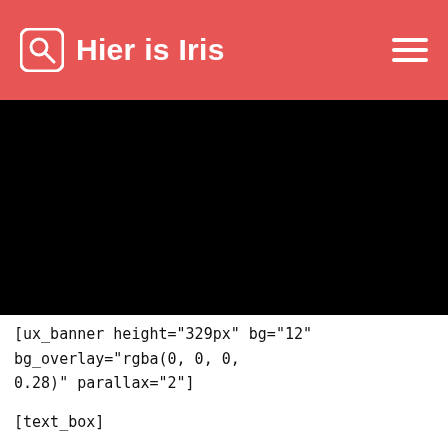Hier is Iris
[Figure (screenshot): Black banner area representing a website banner/hero image region]
[ux_banner height="329px" bg="12" bg_overlay="rgba(0, 0, 0, 0.28)" parallax="2"]
[text_box]
Share & Follow Icons
Beautiful Share and Follow Icons that you can insert anywhere with the Page Builder.